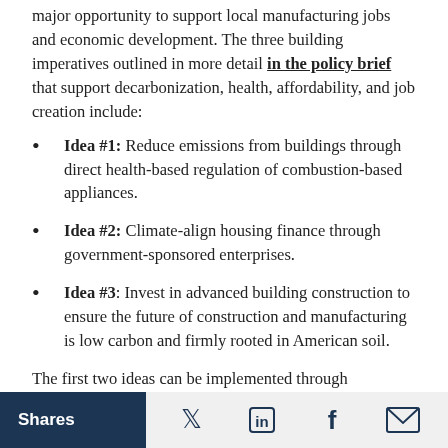major opportunity to support local manufacturing jobs and economic development. The three building imperatives outlined in more detail in the policy brief that support decarbonization, health, affordability, and job creation include:
Idea #1: Reduce emissions from buildings through direct health-based regulation of combustion-based appliances.
Idea #2: Climate-align housing finance through government-sponsored enterprises.
Idea #3: Invest in advanced building construction to ensure the future of construction and manufacturing is low carbon and firmly rooted in American soil.
The first two ideas can be implemented through regulations from federal agencies, and the third idea could be part of future stimulus or infrastructure
Shares [Twitter] [LinkedIn] [Facebook] [Email]